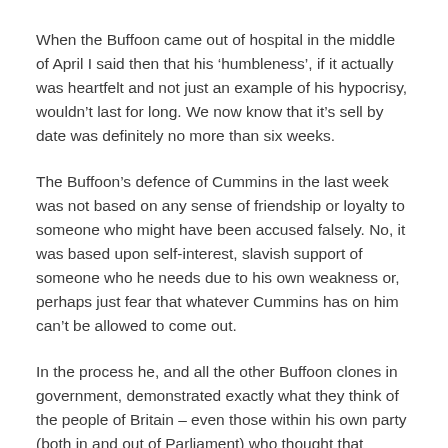When the Buffoon came out of hospital in the middle of April I said then that his ‘humbleness’, if it actually was heartfelt and not just an example of his hypocrisy, wouldn’t last for long. We now know that it’s sell by date was definitely no more than six weeks.
The Buffoon’s defence of Cummins in the last week was not based on any sense of friendship or loyalty to someone who might have been accused falsely. No, it was based upon self-interest, slavish support of someone who he needs due to his own weakness or, perhaps just fear that whatever Cummins has on him can’t be allowed to come out.
In the process he, and all the other Buffoon clones in government, demonstrated exactly what they think of the people of Britain – even those within his own party (both in and out of Parliament) who thought that Cummins had crossed a line which was not acceptable.
In the last week the Buffoon has clutched at any straw in an attempt to ‘draw a line under the matter’. Matters about how to go...